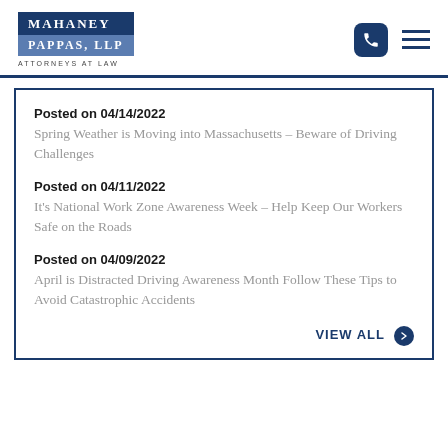[Figure (logo): Mahaney Pappas, LLP Attorneys at Law logo with dark blue background]
Posted on 04/14/2022
Spring Weather is Moving into Massachusetts – Beware of Driving Challenges
Posted on 04/11/2022
It's National Work Zone Awareness Week – Help Keep Our Workers Safe on the Roads
Posted on 04/09/2022
April is Distracted Driving Awareness Month Follow These Tips to Avoid Catastrophic Accidents
VIEW ALL